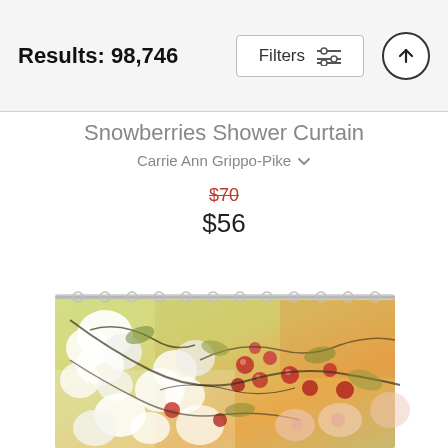Results: 98,746
Filters
Snowberries Shower Curtain
Carrie Ann Grippo-Pike
$70
$56
[Figure (photo): A shower curtain with floral painting featuring white snowberries, red berries, and green/yellow foliage on a light background]